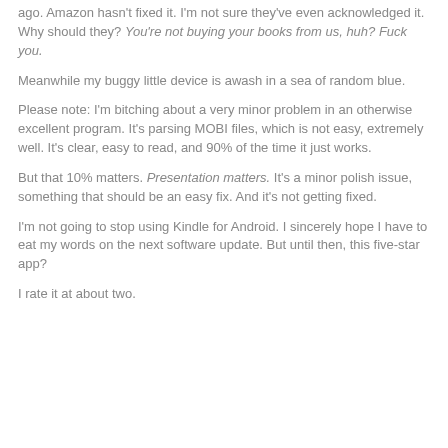ago. Amazon hasn't fixed it. I'm not sure they've even acknowledged it. Why should they? You're not buying your books from us, huh? Fuck you.
Meanwhile my buggy little device is awash in a sea of random blue.
Please note: I'm bitching about a very minor problem in an otherwise excellent program. It's parsing MOBI files, which is not easy, extremely well. It's clear, easy to read, and 90% of the time it just works.
But that 10% matters. Presentation matters. It's a minor polish issue, something that should be an easy fix. And it's not getting fixed.
I'm not going to stop using Kindle for Android. I sincerely hope I have to eat my words on the next software update. But until then, this five-star app?
I rate it at about two.